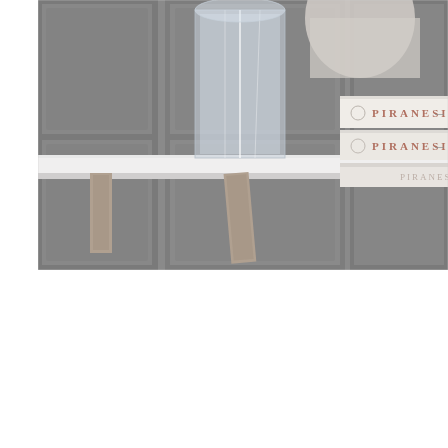[Figure (photo): A cropped interior photo showing a white console or side table with a geometric acrylic or glass sculpture/vase on top, alongside a stack of three PIRANESI books. The background shows gray paneled walls. The image is cropped to the top portion of the page, with a large white area below.]